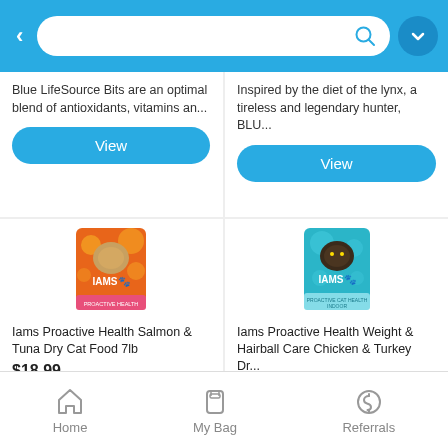[Figure (screenshot): Mobile app top search bar with blue background, back arrow, search input, and profile button]
Blue LifeSource Bits are an optimal blend of antioxidants, vitamins an...
Inspired by the diet of the lynx, a tireless and legendary hunter, BLU...
View
View
[Figure (photo): Iams Proactive Health Salmon & Tuna Dry Cat Food 7lb - orange bag with cat]
[Figure (photo): Iams Proactive Health Weight & Hairball Care Chicken & Turkey - teal/blue bag with cat]
Iams Proactive Health Salmon & Tuna Dry Cat Food 7lb
$18.99
Keep your cats at their best with
Iams Proactive Health Weight & Hairball Care Chicken & Turkey Dr...
$19.99
Your cat is unique... that's why
Home   My Bag   Referrals